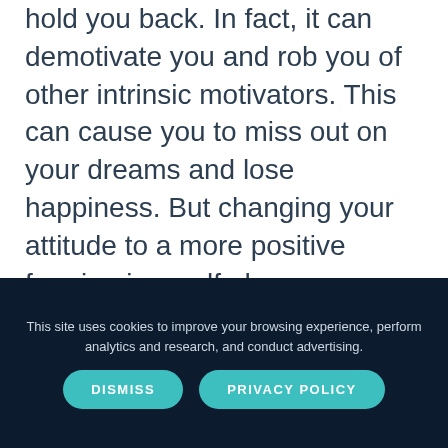hold you back. In fact, it can demotivate you and rob you of other intrinsic motivators. This can cause you to miss out on your dreams and lose happiness. But changing your attitude to a more positive framing is a self-change mechanism that can see you approach
This site uses cookies to improve your browsing experience, perform analytics and research, and conduct advertising.
DISMISS
PRIVACY POLICY